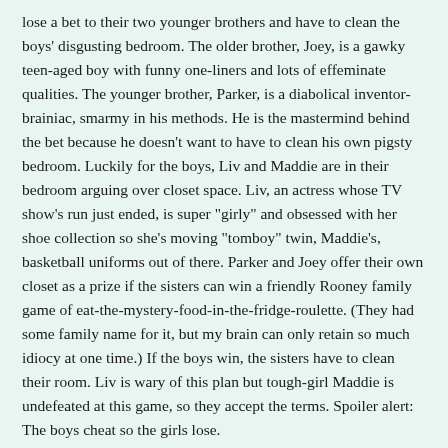lose a bet to their two younger brothers and have to clean the boys' disgusting bedroom. The older brother, Joey, is a gawky teen-aged boy with funny one-liners and lots of effeminate qualities. The younger brother, Parker, is a diabolical inventor-brainiac, smarmy in his methods. He is the mastermind behind the bet because he doesn't want to have to clean his own pigsty bedroom. Luckily for the boys, Liv and Maddie are in their bedroom arguing over closet space. Liv, an actress whose TV show's run just ended, is super "girly" and obsessed with her shoe collection so she's moving "tomboy" twin, Maddie's, basketball uniforms out of there. Parker and Joey offer their own closet as a prize if the sisters can win a friendly Rooney family game of eat-the-mystery-food-in-the-fridge-roulette. (They had some family name for it, but my brain can only retain so much idiocy at one time.) If the boys win, the sisters have to clean their room. Liv is wary of this plan but tough-girl Maddie is undefeated at this game, so they accept the terms. Spoiler alert: The boys cheat so the girls lose.
Once inside the disgusting bedroom, Parker's giant beanbag chair "eats" Maddie. As it turns out, she has fallen into one of Parker's many cave-tunnels. This tunnel leads to the high school. Yes, you read that right: the boy has a tunnel system from his bedroom to